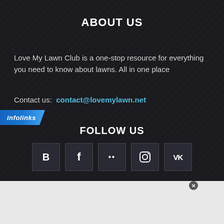ABOUT US
Love My Lawn Club is a one-stop resource for everything you need to know about lawns. All in one place
Contact us: contact@lovemylawn.net
FOLLOW US
[Figure (infographic): Five social media icon buttons: Blogger (B), Facebook (f), Flickr (..), Instagram (camera), VK]
[Figure (infographic): Infolinks logo bar at bottom of dark section]
[Figure (infographic): SmartPak advertisement banner: 50% Off Two Months of ColiCare. ColiCare Eligible Supplements CODE: COLICARE10. Shop Now button.]